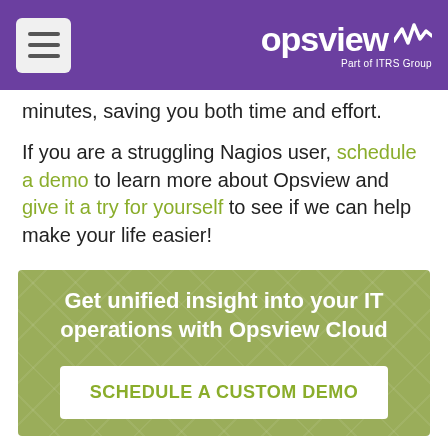opsview — Part of ITRS Group
minutes, saving you both time and effort.
If you are a struggling Nagios user, schedule a demo to learn more about Opsview and give it a try for yourself to see if we can help make your life easier!
[Figure (infographic): Green CTA banner with diamond pattern background containing heading 'Get unified insight into your IT operations with Opsview Cloud' and a white button 'SCHEDULE A CUSTOM DEMO']